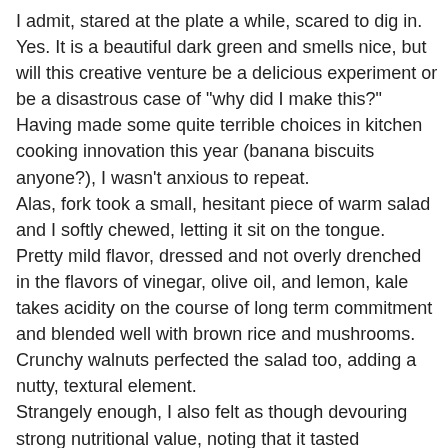I admit, stared at the plate a while, scared to dig in. Yes. It is a beautiful dark green and smells nice, but will this creative venture be a delicious experiment or be a disastrous case of "why did I make this?" Having made some quite terrible choices in kitchen cooking innovation this year (banana biscuits anyone?), I wasn't anxious to repeat. Alas, fork took a small, hesitant piece of warm salad and I softly chewed, letting it sit on the tongue. Pretty mild flavor, dressed and not overly drenched in the flavors of vinegar, olive oil, and lemon, kale takes acidity on the course of long term commitment and blended well with brown rice and mushrooms. Crunchy walnuts perfected the salad too, adding a nutty, textural element. Strangely enough, I also felt as though devouring strong nutritional value, noting that it tasted unbelievably healthy if there is such a thing. But I swear it did! Chewing and swallowing took a vast amount of time (perhaps kale should be chopped finer?) and salad could have easily used more addictive "meaty" mushrooms. Overall, everyone should at least try it! With out a doubt,